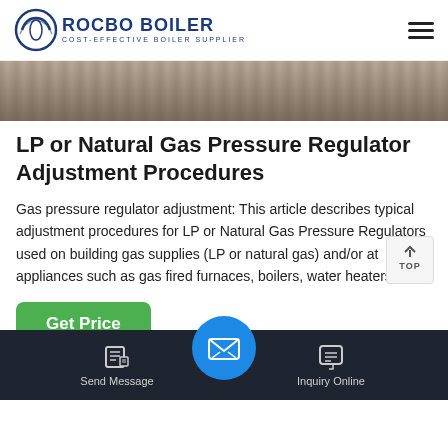ROCBO BOILER — COST-EFFECTIVE BOILER SUPPLIER
[Figure (photo): Partial view of industrial boiler or gas piping equipment, dark tones]
LP or Natural Gas Pressure Regulator Adjustment Procedures
Gas pressure regulator adjustment: This article describes typical adjustment procedures for LP or Natural Gas Pressure Regulators used on building gas supplies (LP or natural gas) and/or at appliances such as gas fired furnaces, boilers, water heaters, an…
[Figure (other): Get Price button — green rounded rectangle]
[Figure (photo): Second industrial boiler image strip, dark and textured]
Send Message    Inquiry Online